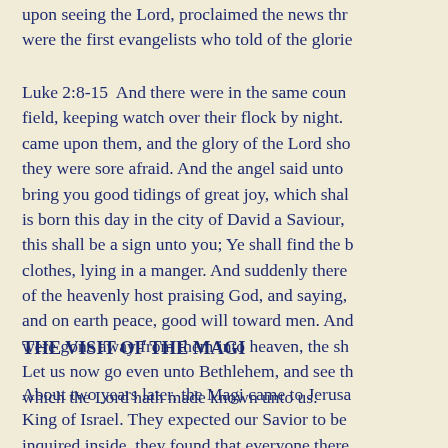upon seeing the Lord, proclaimed the news there were the first evangelists who told of the glorie
Luke 2:8-15  And there were in the same country shepherds abiding in the field, keeping watch over their flock by night. And, lo, the angel of the Lord came upon them, and the glory of the Lord shone round about them: and they were sore afraid. And the angel said unto them, Fear not: for, behold, I bring you good tidings of great joy, which shall be to all people. For unto you is born this day in the city of David a Saviour, which is Christ the Lord. And this shall be a sign unto you; Ye shall find the babe wrapped in swaddling clothes, lying in a manger. And suddenly there was with the angel a multitude of the heavenly host praising God, and saying, Glory to God in the highest, and on earth peace, good will toward men. And it came to pass, as the angels were gone away from them into heaven, the shepherds said one to another, Let us now go even unto Bethlehem, and see this thing which is come to pass, which the Lord hath made known unto us.
THE VISIT OF THE MAGI
About two years later, the Magi came to Jerusalem looking for the King of Israel. They expected our Savior to be inquired inside, they found that everyone there